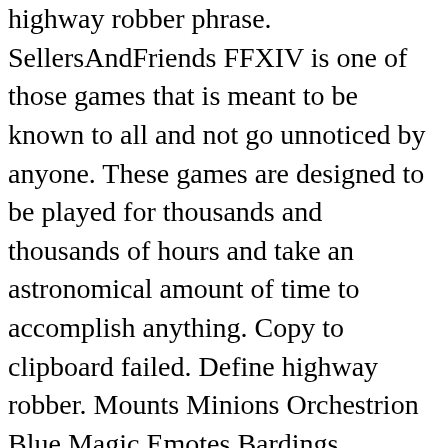highway robber phrase. SellersAndFriends FFXIV is one of those games that is meant to be known to all and not go unnoticed by anyone. These games are designed to be played for thousands and thousands of hours and take an astronomical amount of time to accomplish anything. Copy to clipboard failed. Define highway robber. Mounts Minions Orchestrion Blue Magic Emotes Bardings Hairstyles Armoire Fashion Accessories Triple Triad. With the introduction of Patch 2.1, SE has added Player versus Player combat to Final Fantasy XIV. Boreas. The video is going viral on social media. The Black Chocobo is a fly mount for the Heavensward (3.0) expansion pack for Final Fantasy XIV A Realm Reborn. Pages in category "Highway Robbery start NPC" The following 18 pages are in this category, out of 18 total. The Dillinger Escape Plan Lyrics "Highway Robbery"